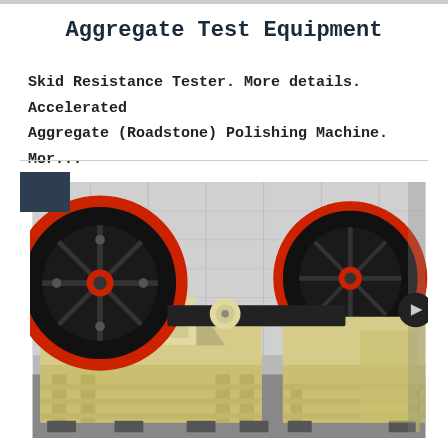Aggregate Test Equipment
Skid Resistance Tester. More details. Accelerated Aggregate (Roadstone) Polishing Machine. Mor...
[Figure (photo): Industrial jaw crusher machines with large black and red flywheels on a cream/beige painted heavy steel frame, displayed in an industrial yard with corrugated metal wall background. Two crushers visible, with large pulley wheels.]